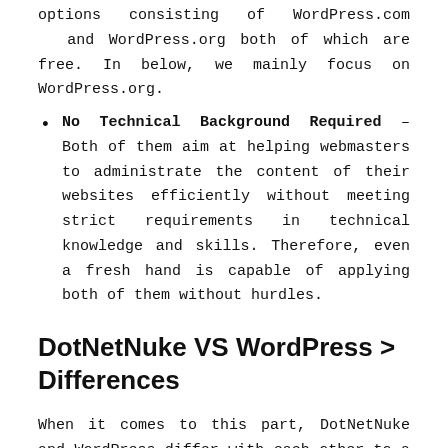options consisting of WordPress.com and WordPress.org both of which are free. In below, we mainly focus on WordPress.org.
No Technical Background Required – Both of them aim at helping webmasters to administrate the content of their websites efficiently without meeting strict requirements in technical knowledge and skills. Therefore, even a fresh hand is capable of applying both of them without hurdles.
DotNetNuke VS WordPress > Differences
When it comes to this part, DotNetNuke and WordPress differ with each other to a great extent. To make these differences clear, we have explained them one by one in the following concise lists.